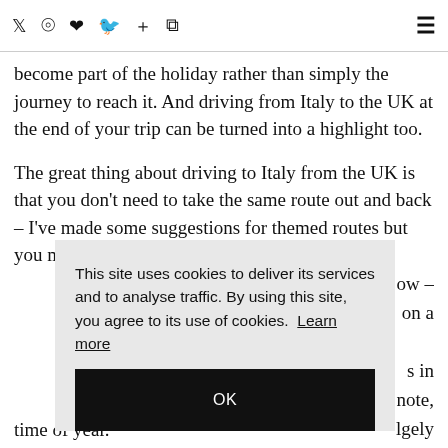Social icons: Twitter, Instagram, Pinterest, Facebook, Plus, RSS | Hamburger menu
the airport, the deflating feeling of flying home at the end of the holiday. Driving to Italy – if you plan it well – can become part of the holiday rather than simply the journey to reach it. And driving from Italy to the UK at the end of your trip can be turned into a highlight too.
The great thing about driving to Italy from the UK is that you don't need to take the same route out and back – I've made some suggestions for themed routes but you might decide to combine a different journey for the list below – on a variety of ...
... s in ... note, ... lgely ... d the time of year.
This site uses cookies to deliver its services and to analyse traffic. By using this site, you agree to its use of cookies. Learn more
OK